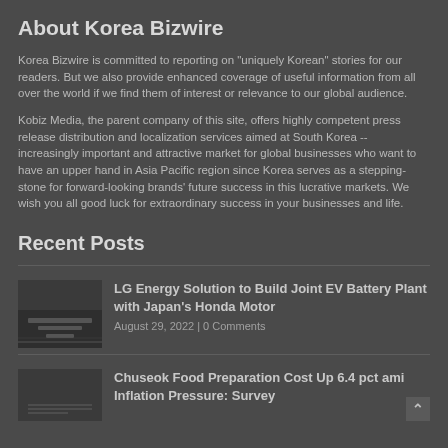About Korea Bizwire
Korea Bizwire is committed to reporting on "uniquely Korean" stories for our readers. But we also provide enhanced coverage of useful information from all over the world if we find them of interest or relevance to our global audience.
Kobiz Media, the parent company of this site, offers highly competent press release distribution and localization services aimed at South Korea -- increasingly important and attractive market for global businesses who want to have an upper hand in Asia Pacific region since Korea serves as a stepping-stone for forward-looking brands' future success in this lucrative markets. We wish you all good luck for extraordinary success in your businesses and life.
Recent Posts
LG Energy Solution to Build Joint EV Battery Plant with Japan's Honda Motor
August 29, 2022 | 0 Comments
Chuseok Food Preparation Cost Up 6.4 pct ami Inflation Pressure: Survey